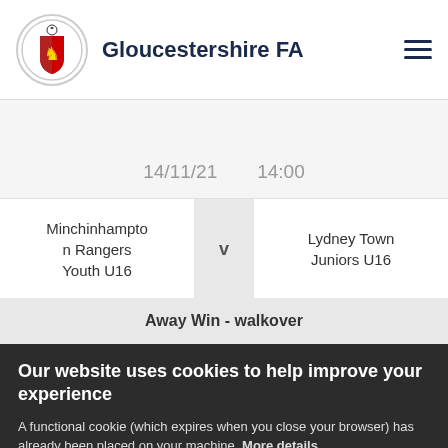Gloucestershire FA
17.
14/11/21   14:00
| Minchinhampto n Rangers Youth U16 | v | Lydney Town Juniors U16 |
Away Win - walkover
Our website uses cookies to help improve your experience
A functional cookie (which expires when you close your browser) has already been placed on your machine. More details
ACCEPT COOKIES